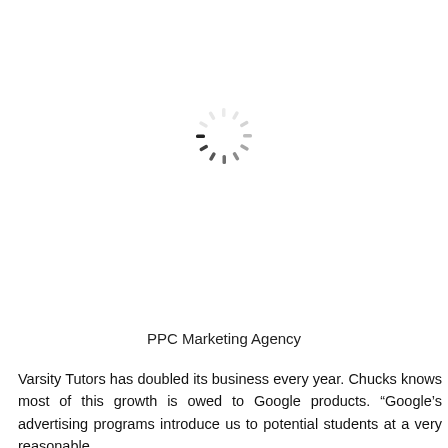[Figure (other): A loading spinner (circular dashed/segmented progress indicator) centered on the upper portion of the page]
PPC Marketing Agency
Varsity Tutors has doubled its business every year. Chucks knows most of this growth is owed to Google products. “Google’s advertising programs introduce us to potential students at a very reasonable